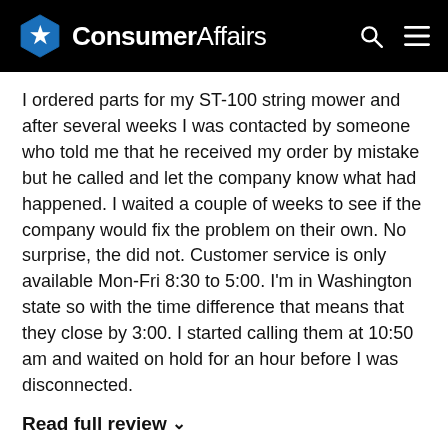ConsumerAffairs
I ordered parts for my ST-100 string mower and after several weeks I was contacted by someone who told me that he received my order by mistake but he called and let the company know what had happened. I waited a couple of weeks to see if the company would fix the problem on their own. No surprise, the did not. Customer service is only available Mon-Fri 8:30 to 5:00. I'm in Washington state so with the time difference that means that they close by 3:00. I started calling them at 10:50 am and waited on hold for an hour before I was disconnected.
Read full review ✓
Helpful